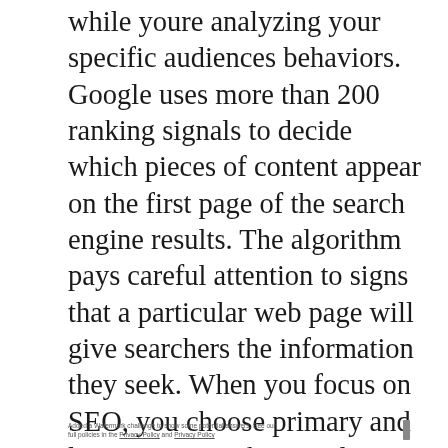while youre analyzing your specific audiences behaviors. Google uses more than 200 ranking signals to decide which pieces of content appear on the first page of the search engine results. The algorithm pays careful attention to signs that a particular web page will give searchers the information they seek. When you focus on SEO, you choose primary and latent semantic keywords related to search intent. You write content that people love to read and make sure you provide meta information to help Google better understand the copy. If you optimize your website for conversions, you focus on guiding visitors toward a specific goal, whether its joining your email list or buying one of your products.
Added a Watermark challenge to show some potential answers. See our
full policies in the Privacy Policy and Privacy Policy